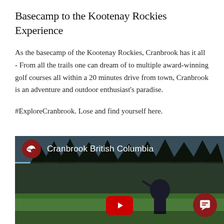Basecamp to the Kootenay Rockies Experience
As the basecamp of the Kootenay Rockies, Cranbrook has it all - From all the trails one can dream of to multiple award-winning golf courses all within a 20 minutes drive from town, Cranbrook is an adventure and outdoor enthusiast's paradise.
#ExploreCranbrook. Lose and find yourself here.
[Figure (screenshot): Video thumbnail showing a golf course with trees in the background, a golfer swinging, YouTube play button overlaid at bottom center, dark red channel icon with eagle logo and title 'Cranbrook British Columbia' in the top bar, and a dark red chat bubble button at bottom right.]